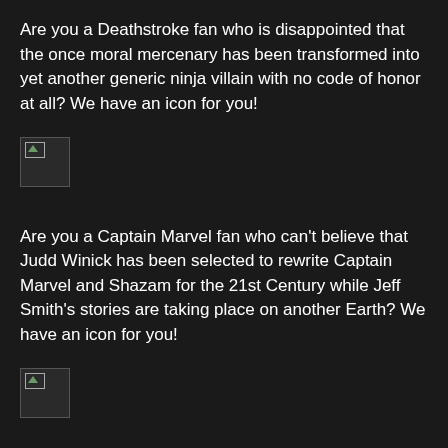Are you a Deathstroke fan who is disappointed that the once moral mercenary has been transformed into yet another generic ninja villain with no code of honor at all? We have an icon for you!
[Figure (illustration): Broken image placeholder icon]
Are you a Captain Marvel fan who can't believe that Judd Winick has been selected to rewrite Captain Marvel and Shazam for the 21st Century while Jeff Smith's stories are taking place on another Earth? We have an icon for you!
[Figure (illustration): Broken image placeholder icon]
Are you a Mary Marvel fan who is irked that, for some reason, Mary wasn't good enough to be considered as the next heir to the title of Captain Marvel (despite years of